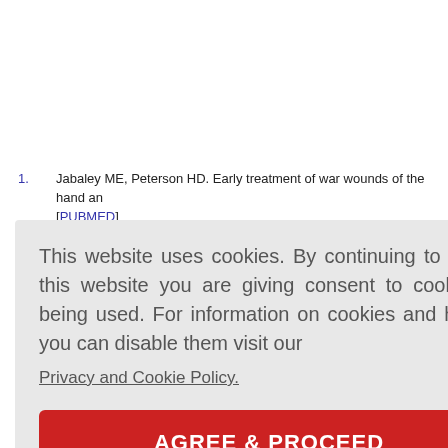1. Jabaley ME, Peterson HD. Early treatment of war wounds of the hand and forearm. [PUBMED]
2. (partial) f naval w... part12.htm
3. (partial) org/wiki/SE...
4. (partial) .962;2:10-...
5. (partial) hand. Han...
6. (partial) uries of th...
7. Neumann DA, Bielefeld T. The carpometacarpal joint of the thumb: Sta...
This website uses cookies. By continuing to use this website you are giving consent to cookies being used. For information on cookies and how you can disable them visit our Privacy and Cookie Policy. AGREE & PROCEED